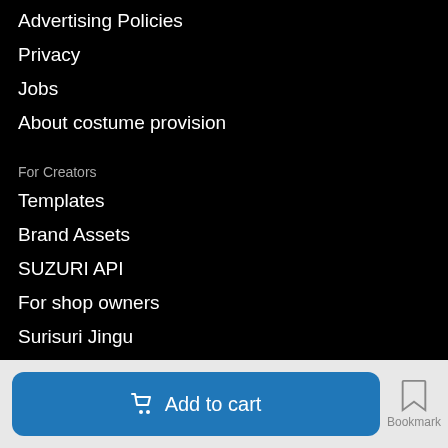Advertising Policies
Privacy
Jobs
About costume provision
For Creators
Templates
Brand Assets
SUZURI API
For shop owners
Surisuri Jingu
ワクワクおえかきランド
Follow Us
Add to cart
Bookmark